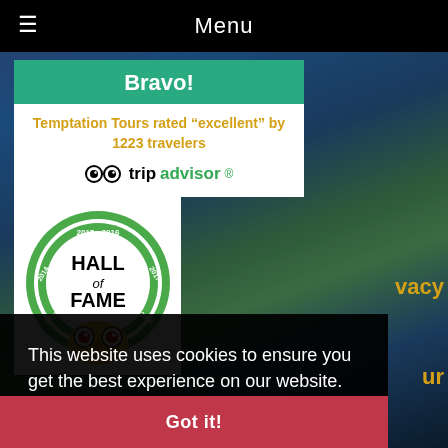Menu
Bravo!
Temptation Tours rated "excellent" by 1223 travelers
[Figure (logo): TripAdvisor logo with owl icon]
[Figure (logo): TripAdvisor Hall of Fame badge 2013-2018 with owl mascot]
This website uses cookies to ensure you get the best experience on our website.
Learn more
Got it!